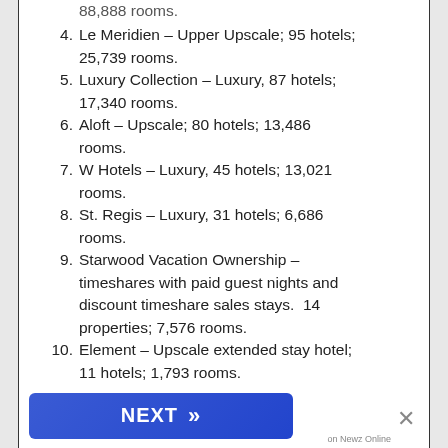4. Le Meridien – Upper Upscale; 95 hotels; 25,739 rooms.
5. Luxury Collection – Luxury, 87 hotels; 17,340 rooms.
6. Aloft – Upscale; 80 hotels; 13,486 rooms.
7. W Hotels – Luxury, 45 hotels; 13,021 rooms.
8. St. Regis – Luxury, 31 hotels; 6,686 rooms.
9. Starwood Vacation Ownership – timeshares with paid guest nights and discount timeshare sales stays.  14 properties; 7,576 rooms.
10. Element – Upscale extended stay hotel; 11 hotels; 1,793 rooms.
11. (partially visible)